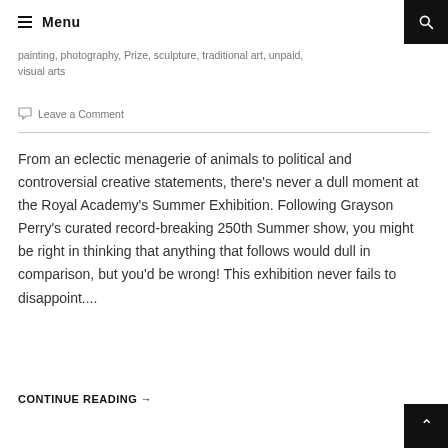Menu
painting, photography, Prize, sculpture, traditional art, unpaid, visual arts
Leave a Comment
From an eclectic menagerie of animals to political and controversial creative statements, there's never a dull moment at the Royal Academy's Summer Exhibition. Following Grayson Perry's curated record-breaking 250th Summer show, you might be right in thinking that anything that follows would dull in comparison, but you'd be wrong! This exhibition never fails to disappoint....
CONTINUE READING →